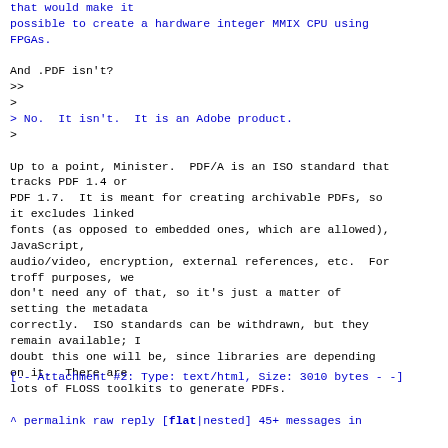that would make it
possible to create a hardware integer MMIX CPU using
FPGAs.

And .PDF isn't?
>>
>
> No.  It isn't.  It is an Adobe product.
>

Up to a point, Minister.  PDF/A is an ISO standard that
tracks PDF 1.4 or
PDF 1.7.  It is meant for creating archivable PDFs, so
it excludes linked
fonts (as opposed to embedded ones, which are allowed),
JavaScript,
audio/video, encryption, external references, etc.  For
troff purposes, we
don't need any of that, so it's just a matter of
setting the metadata
correctly.  ISO standards can be withdrawn, but they
remain available; I
doubt this one will be, since libraries are depending
on it.  There are
lots of FLOSS toolkits to generate PDFs.
[-- Attachment #2: Type: text/html, Size: 3010 bytes --]
^ permalink raw reply  [flat|nested] 45+ messages in